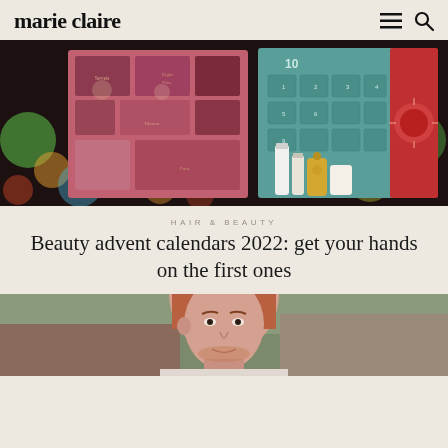marie claire
[Figure (photo): Beauty advent calendars displayed with bokeh Christmas lights in background — showing red/pink boxes with numbered compartments on the left and a teal/turquoise open advent calendar with skincare products on the right]
HAIR & BEAUTY
Beauty advent calendars 2022: get your hands on the first ones
[Figure (photo): Partial photo of a red-haired man outdoors, cropped at the bottom of the page]